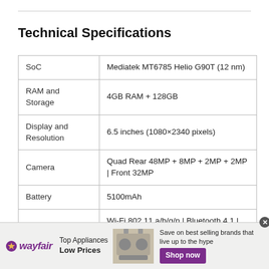Technical Specifications
| Specification | Value |
| --- | --- |
| SoC | Mediatek MT6785 Helio G90T (12 nm) |
| RAM and Storage | 4GB RAM + 128GB |
| Display and Resolution | 6.5 inches (1080×2340 pixels) |
| Camera | Quad Rear 48MP + 8MP + 2MP + 2MP | Front 32MP |
| Battery | 5100mAh |
| Connectivity | Wi-Fi 802.11 a/b/g/n | Bluetooth 4.1 | USB Type-C 2.0 |
[Figure (other): Wayfair advertisement banner: Top Appliances Low Prices, Save on best selling brands that live up to the hype, Shop now button]